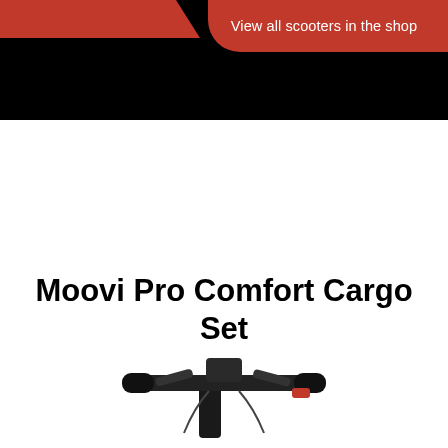View all scooters in the shop
Moovi Pro Comfort Cargo Set
[Figure (photo): Partial view of a scooter handlebar with brake levers and controls, photographed from above against a white background]